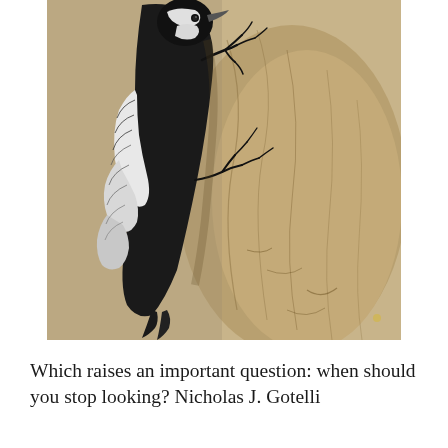[Figure (illustration): A detailed black and white illustration of a woodpecker clinging to the side of a tree trunk. The bird has distinctive black and white plumage with sharp claws gripping the bark. The tree bark is rendered in warm tan/sepia tones with detailed texture lines.]
Which raises an important question: when should you stop looking? Nicholas J. Gotelli